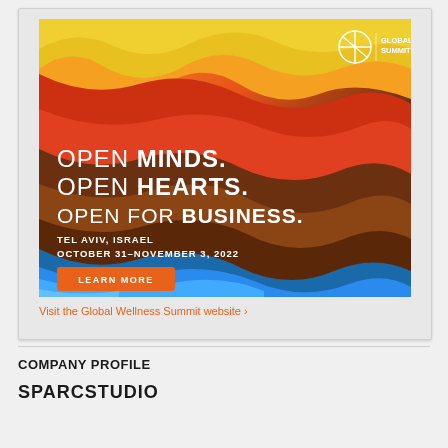[Figure (illustration): Global Wellness Summit 2022 advertisement banner with colorful wave design in orange, red, brown, and blue. Text reads: OPEN MINDS. OPEN HEARTS. OPEN FOR BUSINESS. TEL AVIV, ISRAEL OCTOBER 31-NOVEMBER 3, 2022. Orange LEARN MORE button at bottom left. Global Wellness Summit 2022 logo in top right corner.]
Visit the Global Wellness Summit website >
COMPANY PROFILE
SPARCSTUDIO